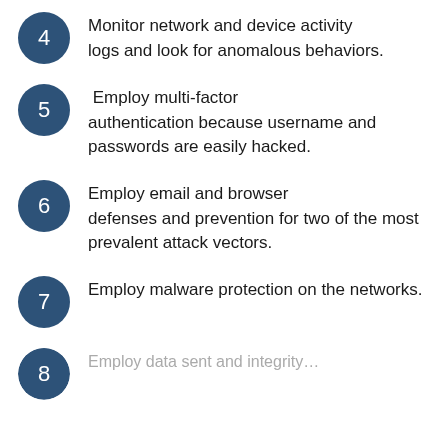4 Monitor network and device activity logs and look for anomalous behaviors.
5 Employ multi-factor authentication because username and passwords are easily hacked.
6 Employ email and browser defenses and prevention for two of the most prevalent attack vectors.
7 Employ malware protection on the networks.
8 ...